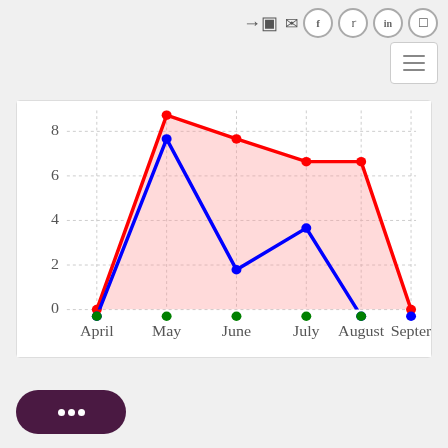[Figure (line-chart): ]
[Figure (other): Chat button with three dots]